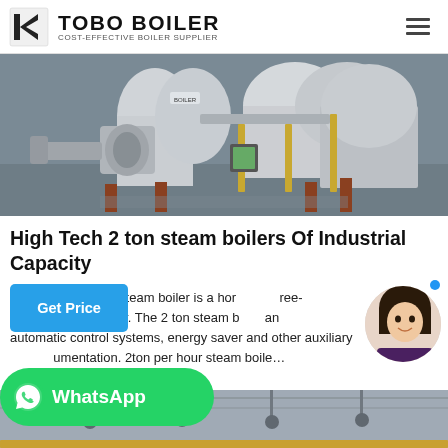TOBO BOILER — COST-EFFECTIVE BOILER SUPPLIER
[Figure (photo): Industrial boiler room with multiple large white horizontal cylindrical steam boilers, yellow support columns, and piping]
High Tech 2 ton steam boilers Of Industrial Capacity
2 ton steam boiler Steam boiler is a horizontal three-pass fire tube dual wet back boiler. The 2 ton steam boiler an automatic control systems, energy saver and other auxiliary umentation. 2ton per hour steam boile…
[Figure (photo): Interior ceiling of an industrial building with hanging fixtures and a yellow pipe visible at bottom]